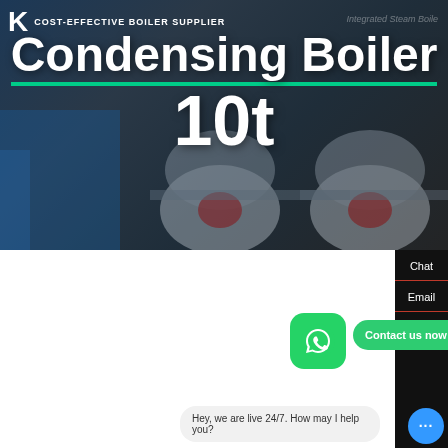[Figure (photo): Hero banner showing industrial condensing boilers in dark blue/grey background with overlay, showing large industrial boiler equipment]
COST-EFFECTIVE BOILER SUPPLIER | Integrated Steam Boiler
Condensing Boiler 10t
Low Price Condensing Boiler 10t
HOT NEWS
[Figure (logo): WhatsApp green icon button]
Contact us now!
Auto Water Boiler
Burning Gas Mini Boiler From Sale
Chat
Email
Contact
Hey, we are live 24/7. How may I help you?